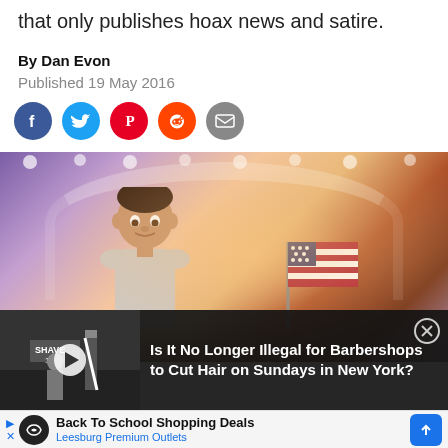that only publishes hoax news and satire.
By Dan Evon
Published 19 May 2016
[Figure (photo): Social media share icons: Facebook, Twitter, Pinterest, Reddit, Email]
[Figure (photo): Photo of a smiling boy at a political rally holding a small American flag, with a colorful arched stage with lights in the background and a crowd]
[Figure (photo): Promoted video thumbnail: black and white barbershop scene with play button overlay, with text 'Is It No Longer Illegal for Barbershops to Cut Hair on Sundays in New York?']
[Figure (infographic): Advertisement: Back To School Shopping Deals - Leesburg Premium Outlets]